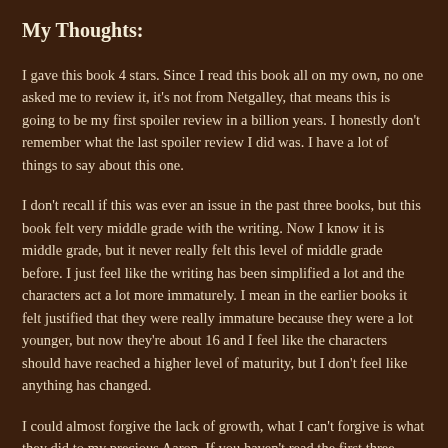My Thoughts:
I gave this book 4 stars. Since I read this book all on my own, no one asked me to review it, it's not from Netgalley, that means this is going to be my first spoiler review in a billion years. I honestly don't remember what the last spoiler review I did was. I have a lot of things to say about this one.
I don't recall if this was ever an issue in the past three books, but this book felt very middle grade with the writing. Now I know it is middle grade, but it never really felt this level of middle grade before. I just feel like the writing has been simplified a lot and the characters act a lot more immaturely. I mean in the earlier books it felt justified that they were really immature because they were a lot younger, but now they're about 16 and I feel like the characters should have reached a higher level of maturity, but I don't feel like anything has changed.
I could almost forgive the lack of growth, what I can't forgive is what they did to my precious Aaron. If you haven't read the first three books then you shouldn't read this book and you most certainly shouldn't be reading this review.